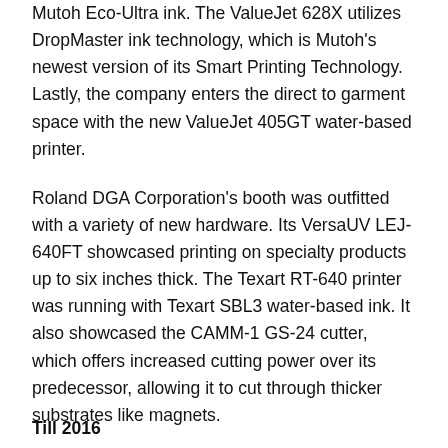Mutoh Eco-Ultra ink. The ValueJet 628X utilizes DropMaster ink technology, which is Mutoh's newest version of its Smart Printing Technology. Lastly, the company enters the direct to garment space with the new ValueJet 405GT water-based printer.
Roland DGA Corporation's booth was outfitted with a variety of new hardware. Its VersaUV LEJ-640FT showcased printing on specialty products up to six inches thick. The Texart RT-640 printer was running with Texart SBL3 water-based ink. It also showcased the CAMM-1 GS-24 cutter, which offers increased cutting power over its predecessor, allowing it to cut through thicker substrates like magnets.
Seiko I Infotech previewed a 104-inch printer it plans on launching in Fall 2015. The new device is equipped with SX eco-solvent ink.
Till 2016